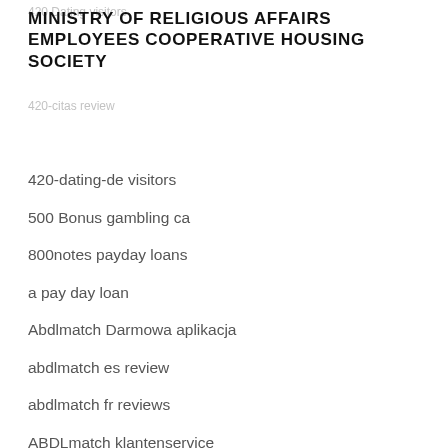420 Dating visitors
MINISTRY OF RELIGIOUS AFFAIRS EMPLOYEES COOPERATIVE HOUSING SOCIETY
420-citas review
420-dating-de visitors
500 Bonus gambling ca
800notes payday loans
a pay day loan
Abdlmatch Darmowa aplikacja
abdlmatch es review
abdlmatch fr reviews
ABDLmatch klantenservice
abdlmatch pl review
ABDLMatch review